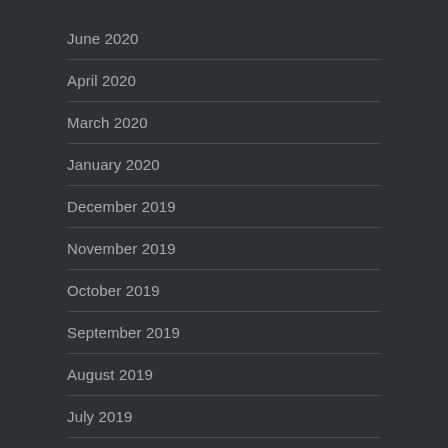June 2020
April 2020
March 2020
January 2020
December 2019
November 2019
October 2019
September 2019
August 2019
July 2019
June 2019